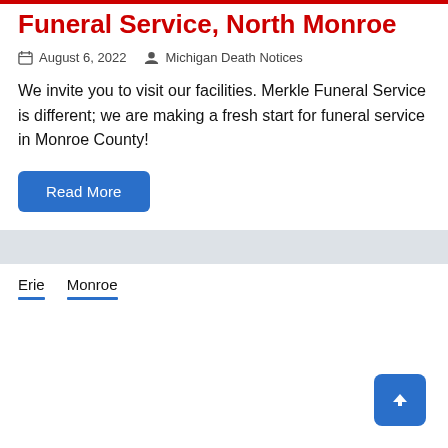Funeral Service, North Monroe
August 6, 2022   Michigan Death Notices
We invite you to visit our facilities. Merkle Funeral Service is different; we are making a fresh start for funeral service in Monroe County!
Read More
Erie   Monroe